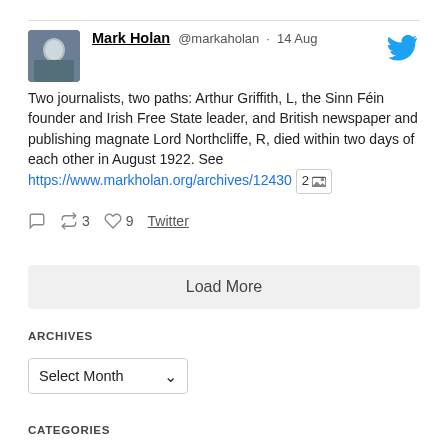Mark Holan @markaholan · 14 Aug
Two journalists, two paths: Arthur Griffith, L, the Sinn Féin founder and Irish Free State leader, and British newspaper and publishing magnate Lord Northcliffe, R, died within two days of each other in August 1922. See https://www.markholan.org/archives/12430 2 [image]
reply 0  retweet 3  like 9  Twitter
Load More
ARCHIVES
Select Month